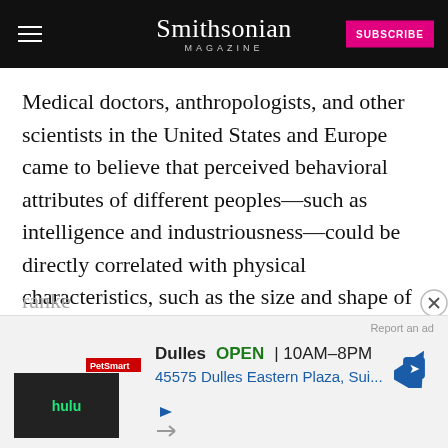Smithsonian MAGAZINE
Medical doctors, anthropologists, and other scientists in the United States and Europe came to believe that perceived behavioral attributes of different peoples—such as intelligence and industriousness—could be directly correlated with physical characteristics, such as the size and shape of the skull. Some even believed that racial attributes could be measured and, indeed
[Figure (screenshot): Advertisement overlay showing a Google Maps business listing for Dulles location, OPEN 10AM-8PM, 45575 Dulles Eastern Plaza, Sui... with navigation arrow icon and Hulu ad thumbnail at bottom left.]